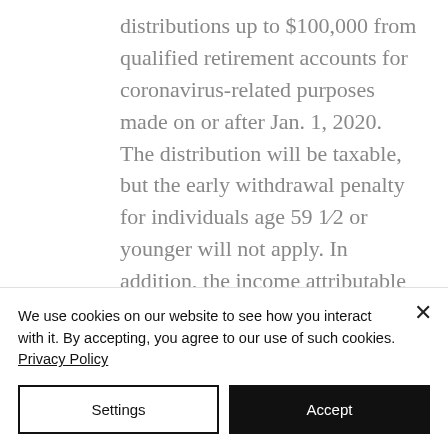distributions up to $100,000 from qualified retirement accounts for coronavirus-related purposes made on or after Jan. 1, 2020. The distribution will be taxable, but the early withdrawal penalty for individuals age 59 1/2 or younger will not apply. In addition, the income attributable to such distributions would be subject to tax over three years, and the taxpayer may
We use cookies on our website to see how you interact with it. By accepting, you agree to our use of such cookies. Privacy Policy